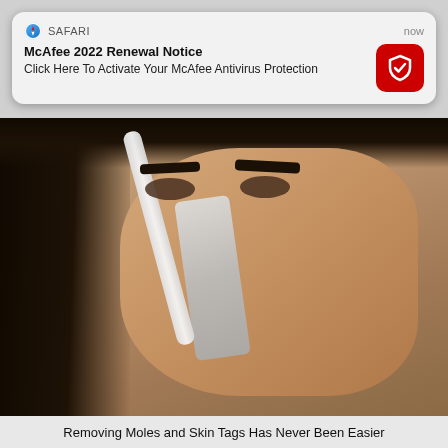[Figure (screenshot): Safari browser push notification overlay on top of a photo. Notification reads: 'McAfee 2022 Renewal Notice' / 'Click Here To Activate Your McAfee Antivirus Protection' with a red McAfee logo icon and timestamp 'now'. Below notification is a photo of a woman applying a white strip/tool to her nose.]
Removing Moles and Skin Tags Has Never Been Easier